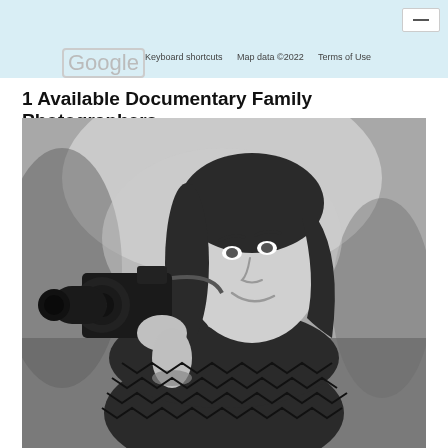Google    Keyboard shortcuts    Map data ©2022    Terms of Use
1 Available Documentary Family Photographers...
[Figure (photo): Black and white portrait photo of a woman with dark hair, smiling, holding a DSLR camera with a large lens up near her shoulder. She is wearing a patterned black zigzag/chevron top. The background is an outdoor scene with blurred trees and foliage.]